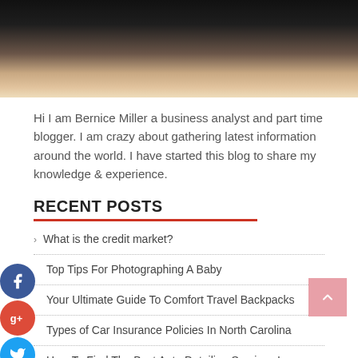[Figure (photo): Photo of a blonde woman in white clothing, cropped to show upper body and face against dark background]
Hi I am Bernice Miller a business analyst and part time blogger. I am crazy about gathering latest information around the world. I have started this blog to share my knowledge & experience.
RECENT POSTS
What is the credit market?
Top Tips For Photographing A Baby
Your Ultimate Guide To Comfort Travel Backpacks
Types of Car Insurance Policies In North Carolina
How To Find The Best Auto Detailing Services In Thousand Oaks?
ARCHIVES